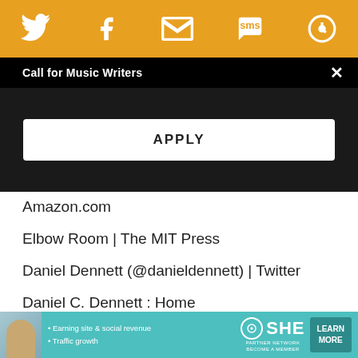[Figure (other): Orange top bar with social media icons: Twitter bird, Facebook f, Email envelope, SMS speech bubble, and a circular icon]
Call for Music Writers
APPLY
Amazon.com
Elbow Room | The MIT Press
Daniel Dennett (@danieldennett) | Twitter
Daniel C. Dennett : Home
[Figure (screenshot): Navigation card with back arrow and article title: 'HISTORY GETS AHEAD OF THE STORY' FOR JAZZ'S COSGROVE, MEDESKI, AND LEDERER]
GREAT PEACOCK STARES DOWN MORTALITY WITH "HIGH WIND" (PREMIERE + INTERVIEW)
[Figure (other): Advertisement banner: SHE Partner Network - Earning site & social revenue, Traffic growth. LEARN MORE button.]